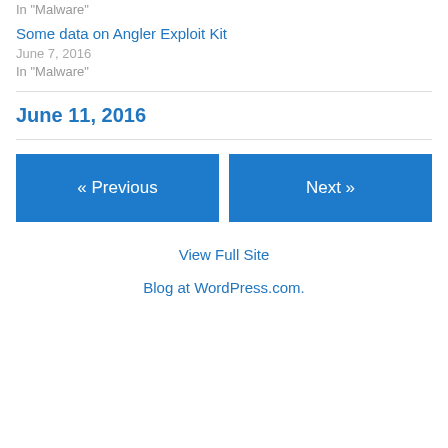In "Malware"
Some data on Angler Exploit Kit
June 7, 2016
In "Malware"
June 11, 2016
« Previous
Next »
View Full Site
Blog at WordPress.com.